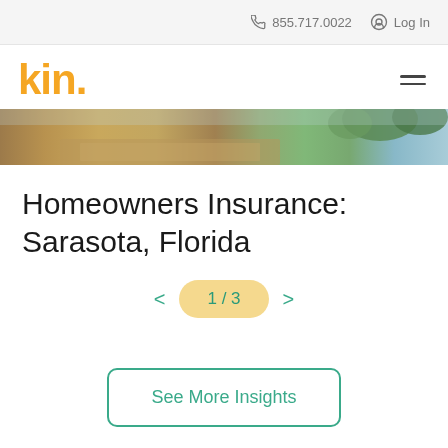855.717.0022  Log In
[Figure (logo): Kin insurance logo in yellow/orange with hamburger menu icon]
[Figure (photo): Partial hero landscape photo strip showing a tree-lined road]
Homeowners Insurance: Sarasota, Florida
1 / 3
See More Insights